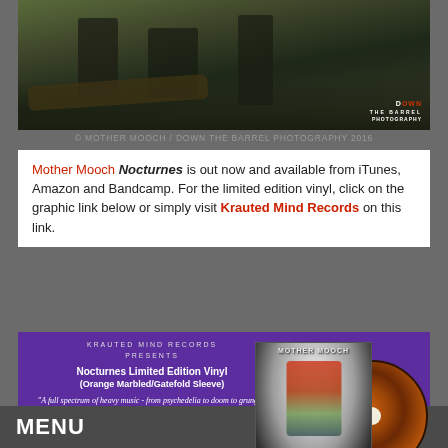[Figure (photo): Band photo of Mother Mooch in outdoor rocky/woodland setting with watermark 'DOWN THE BARREL PHOTOGRAPHY']
© MOTHER MOOCH / DOWN THE BARREL PHOTOGRAPHY 2016
Mother Mooch Nocturnes is out now and available from iTunes, Amazon and Bandcamp. For the limited edition vinyl, click on the graphic link below or simply visit Krauted Mind Records on this link.
[Figure (infographic): Krauted Mind Records promotional banner for Nocturnes Limited Edition Vinyl (Orange Marbled/Gatefold Sleeve) with album art, vinyl disc image, quote from Doomed & Stoned.com, Bandcamp/Spotify/iTunes logos, and www.krautedmind.com website]
Oran O'Beirne
MENU